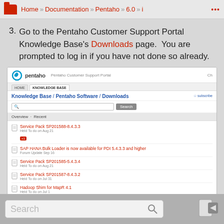Home » Documentation » Pentaho » 6.0 » ...
3. Go to the Pentaho Customer Support Portal Knowledge Base's Downloads page. You are prompted to log in if you have not done so already.
[Figure (screenshot): Screenshot of the Pentaho Customer Support Portal Knowledge Base Downloads page, showing the portal header with Pentaho logo, navigation tabs (HOME, KNOWLEDGE BASE), breadcrumb path (Knowledge Base / Pentaho Software / Downloads), a search box with Search button, and a list of downloadable items including Service Pack SP201588-8.4.3.3, SAP HANA Bulk Loader is now available for PDI 5.4.3.3 and higher, Service Pack SP201585-5.4.3.4, Service Pack SP201587-8.4.3.2, and Hadoop Shim for MapR 4.1.]
Search  [login icon]